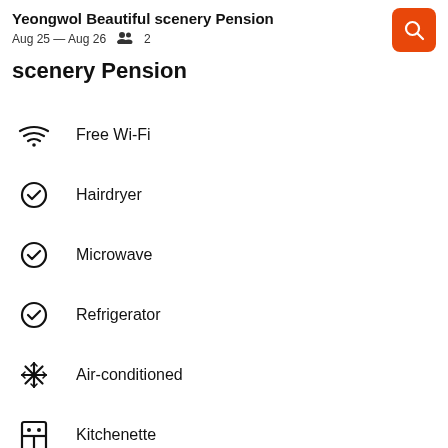Yeongwol Beautiful scenery Pension
Aug 25 – Aug 26   2
scenery Pension
Free Wi-Fi
Hairdryer
Microwave
Refrigerator
Air-conditioned
Kitchenette
Hiking
Playground